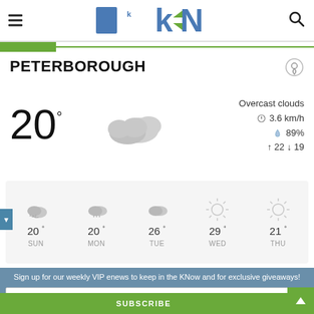kN logo, hamburger menu, search icon
PETERBOROUGH
[Figure (other): Current weather display showing 20° temperature with overcast clouds icon, wind speed 3.6 km/h, humidity 89%, high 22 low 19]
[Figure (other): 5-day forecast strip: SUN 20°, MON 20°, TUE 26°, WED 29°, THU 21° with weather icons]
Sign up for our weekly VIP enews to keep in the KNow and for exclusive giveaways!
Your email address..
SUBSCRIBE